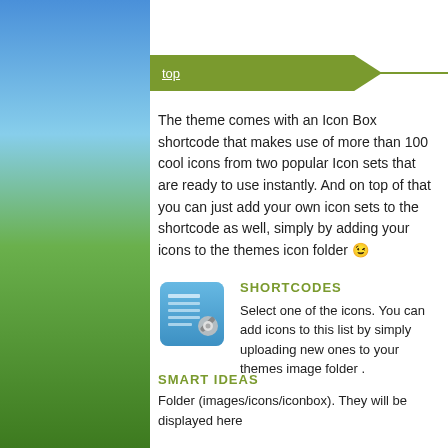top
The theme comes with an Icon Box shortcode that makes use of more than 100 cool icons from two popular Icon sets that are ready to use instantly. And on top of that you can just add your own icon sets to the shortcode as well, simply by adding your icons to the themes icon folder 😉
SHORTCODES
Select one of the icons. You can add icons to this list by simply uploading new ones to your themes image folder .
SMART IDEAS
Folder (images/icons/iconbox). They will be displayed here